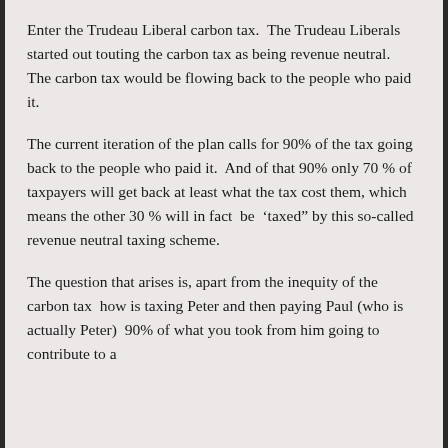Enter the Trudeau Liberal carbon tax.  The Trudeau Liberals started out touting the carbon tax as being revenue neutral.  The carbon tax would be flowing back to the people who paid it.
The current iteration of the plan calls for 90% of the tax going back to the people who paid it.  And of that 90% only 70 % of taxpayers will get back at least what the tax cost them, which means the other 30 % will in fact  be  ‘taxed” by this so-called revenue neutral taxing scheme.
The question that arises is, apart from the inequity of the carbon tax  how is taxing Peter and then paying Paul (who is actually Peter)  90% of what you took from him going to contribute to a